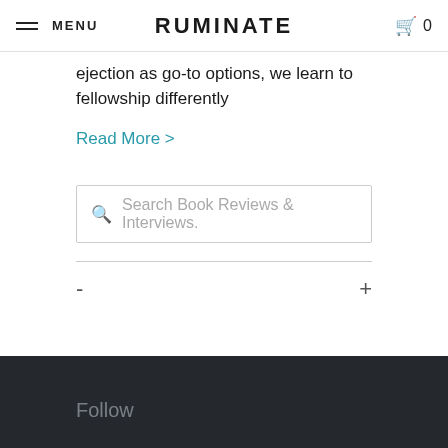MENU  RUMINATE  0
ejection as go-to options, we learn to fellowship differently
Read More >
[Figure (other): Search box with magnifying glass icon and placeholder text 'Search Book Reviews & Interviews.']
-          +
Follow